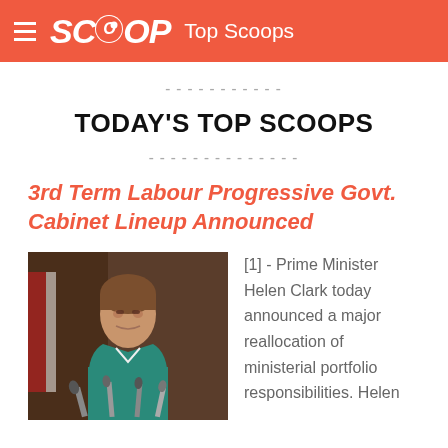SCOOP  Top Scoops
-----------
TODAY'S TOP SCOOPS
--------------
3rd Term Labour Progressive Govt. Cabinet Lineup Announced
[Figure (photo): Photo of Prime Minister Helen Clark speaking at a podium with microphones, wearing a teal jacket]
[1] - Prime Minister Helen Clark today announced a major reallocation of ministerial portfolio responsibilities. Helen